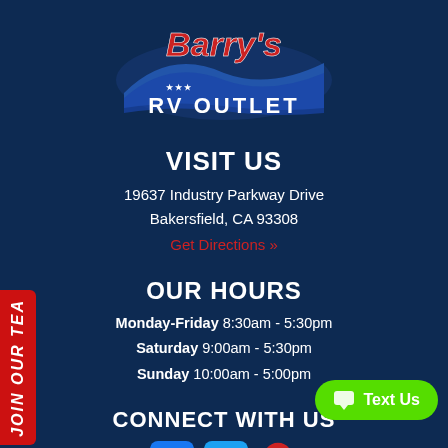[Figure (logo): Barry's RV Outlet logo with red cursive text and blue mountain/flag graphic]
VISIT US
19637 Industry Parkway Drive
Bakersfield, CA 93308
Get Directions »
OUR HOURS
Monday-Friday 8:30am - 5:30pm
Saturday 9:00am - 5:30pm
Sunday 10:00am - 5:00pm
CONNECT WITH US
[Figure (illustration): Social media icons: Facebook, Twitter/bird, and map pin/location icon]
[Figure (illustration): JOIN OUR TEAM red vertical banner on left side]
Text Us button (green pill-shaped button)